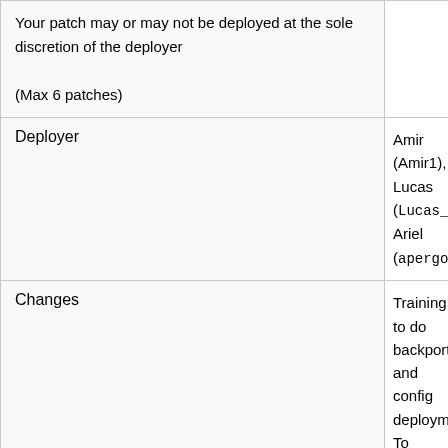|  |  |
| --- | --- |
|  | Your patch may or may not be deployed at the sole discretion of the deployer
(Max 6 patches) |
| Deployer | Amir (Amir1), Lucas (Lucas_WMDE), Ariel (apergos) |
| Changes | Training to do backport and config deployment. To sign up for deployment training use the Deployment Training Request phabricator milestone

Lucas Werkmeister (Lucas_WMDE)

[config] 735367 (deploy commands) Load Wikibase Client before other Wikibase extensions |